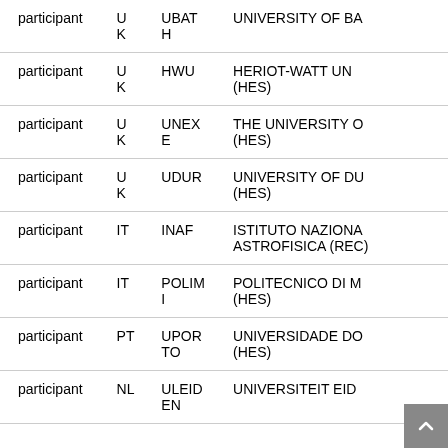|  |  |  |  |
| --- | --- | --- | --- |
| participant | UK | UBATH | UNIVERSITY OF BA… |
| participant | UK | HWU | HERIOT-WATT UN… (HES) |
| participant | UK | UNEXE | THE UNIVERSITY O… (HES) |
| participant | UK | UDUR | UNIVERSITY OF DU… (HES) |
| participant | IT | INAF | ISTITUTO NAZIONA… ASTROFISICA (REC)… |
| participant | IT | POLIMI | POLITECNICO DI M… (HES) |
| participant | PT | UPORTO | UNIVERSIDADE DO… (HES) |
| participant | NL | ULEIDEN | UNIVERSITEIT EID… |